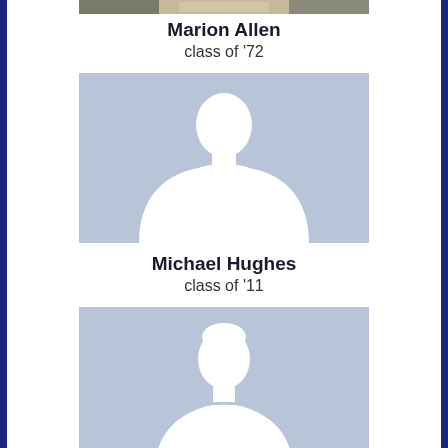[Figure (photo): Profile photo of Marion Allen, partially cropped at top]
Marion Allen
class of '72
[Figure (illustration): Male silhouette placeholder avatar on blue-grey background]
Michael Hughes
class of '11
[Figure (illustration): Female silhouette placeholder avatar on blue-grey background]
Amy Harrington
class of '87
[Figure (illustration): Female silhouette placeholder avatar on blue-grey background]
Sammy Riddick
class of '02